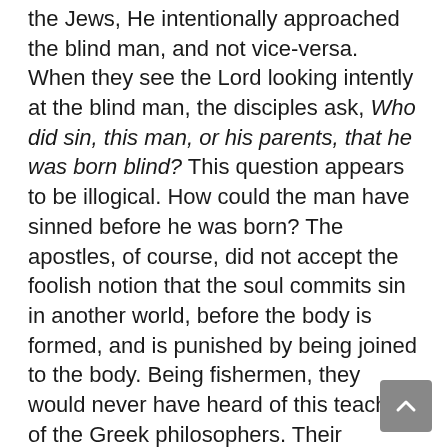the Jews, He intentionally approached the blind man, and not vice-versa. When they see the Lord looking intently at the blind man, the disciples ask, Who did sin, this man, or his parents, that he was born blind? This question appears to be illogical. How could the man have sinned before he was born? The apostles, of course, did not accept the foolish notion that the soul commits sin in another world, before the body is formed, and is punished by being joined to the body. Being fishermen, they would never have heard of this teaching of the Greek philosophers. Their question, then, might appear foolish, but not to one who is attentive. The apostles heard Christ tell the paralytic, Behold, thou art made whole: sin no more, lest a worse thing come unto thee (Jn. 5:14). Now they see the blind man and wonder, "The paralytic was punished because of his sins; but